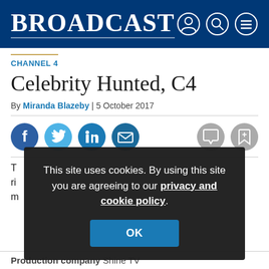BROADCAST
CHANNEL 4
Celebrity Hunted, C4
By Miranda Blazeby | 5 October 2017
[Figure (infographic): Social sharing icons row: Facebook, Twitter, LinkedIn, Email on the left; Comment and Bookmark icons on the right]
This site uses cookies. By using this site you are agreeing to our privacy and cookie policy.
Production company Shine TV